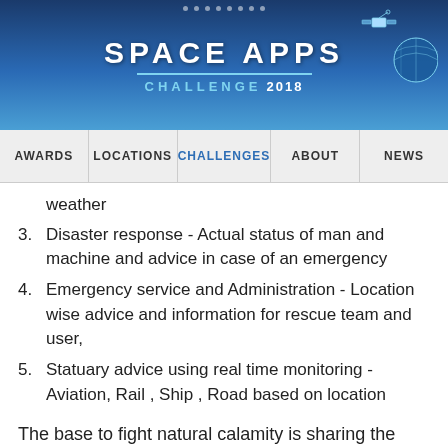SPACE APPS CHALLENGE 2018
weather
3. Disaster response - Actual status of man and machine and advice in case of an emergency
4. Emergency service and Administration - Location wise advice and information for rescue team and user,
5. Statuary advice using real time monitoring - Aviation, Rail , Ship , Road based on location
The base to fight natural calamity is sharing the information. Today we have multiple source of information which can be connected across